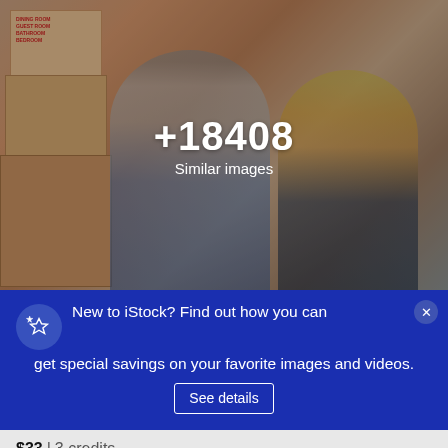[Figure (photo): Couple sitting among moving boxes in a new home. Man in gray shirt and woman in orange/yellow top, both smiling. Moving boxes with labels visible on left side. Photo has a dark overlay with '+18408 Similar images' text centered.]
+18408
Similar images
New to iStock? Find out how you can get special savings on your favorite images and videos.
See details
$33 | 3 credits
Continue with purchase